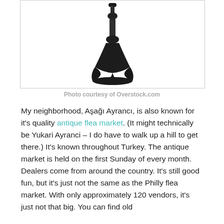[Figure (photo): A dark bronze/black ornate candlestick holder with decorative base, photographed against white background]
Photo courtesy of Overstock.com
My neighborhood, Aşağı Ayrancı, is also known for it's quality antique flea market. (It might technically be Yukari Ayranci – I do have to walk up a hill to get there.)  It's known throughout Turkey.  The antique market is held on the first Sunday of every month.  Dealers come from around the country.  It's still good fun, but it's just not the same as the Philly flea market.  With only approximately 120 vendors, it's just not that big.  You can find old